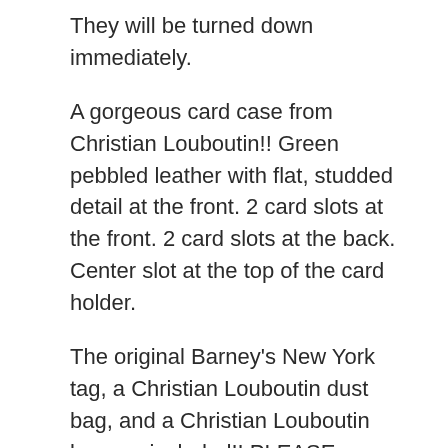They will be turned down immediately.
A gorgeous card case from Christian Louboutin!! Green pebbled leather with flat, studded detail at the front. 2 card slots at the front. 2 card slots at the back. Center slot at the top of the card holder.
The original Barney's New York tag, a Christian Louboutin dust bag, and a Christian Louboutin box are included!! PLEASE NOTE : The Christian Louboutin box provided is for a DIFFERENT model. This DOES NOT come with any tags from Christian Louboutin, it only comes with the Barney's New York tag. Please feel free to message any questions! I'm cleansing my closet! Nevertheless, I love all my items and take care of them to the best of my abilities. Any item that comes with a case or dust bag is ALWAYS put back in the dust bag or case when not in use (including every night). Please do not hesitate to request additional pictures! All items are from a smoke-free